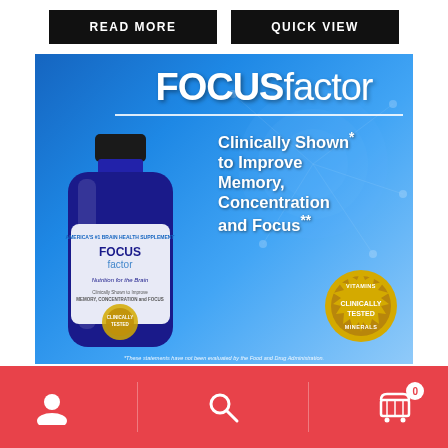READ MORE
QUICK VIEW
[Figure (photo): FOCUSfactor brain supplement product advertisement showing a blue bottle of FOCUSfactor 'Nutrition for the Brain' supplement with text: 'Clinically Shown to Improve Memory, Concentration and Focus' and a 'Clinically Tested' badge with vitamins and minerals seal. Blue background with brain imagery.]
[Figure (infographic): Red footer navigation bar with user/account icon, search icon, and shopping cart icon with badge showing 0 items]